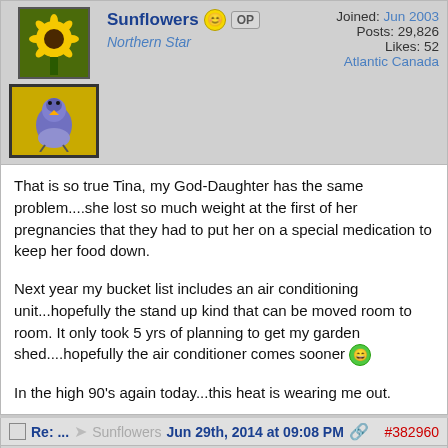Sunflowers  OP  Joined: Jun 2003  Posts: 29,826  Likes: 52  Atlantic Canada  Northern Star
That is so true Tina, my God-Daughter has the same problem....she lost so much weight at the first of her pregnancies that they had to put her on a special medication to keep her food down.

Next year my bucket list includes an air conditioning unit...hopefully the stand up kind that can be moved room to room. It only took 5 yrs of planning to get my garden shed....hopefully the air conditioner comes sooner

In the high 90's again today...this heat is wearing me out.
Re: ...  Sunflowers  Jun 29th, 2014 at 09:08 PM  #382960
JunieGirl  Joined: Oct 2006  Posts: 45,949  Likes: 29  Frogger